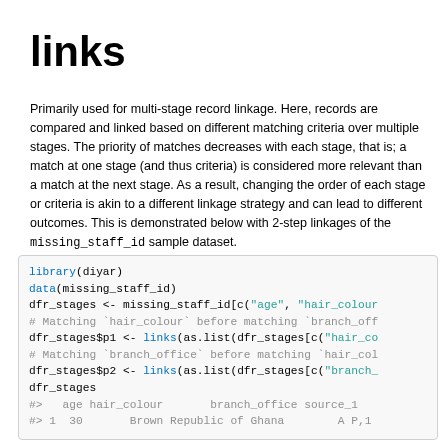links
Primarily used for multi-stage record linkage. Here, records are compared and linked based on different matching criteria over multiple stages. The priority of matches decreases with each stage, that is; a match at one stage (and thus criteria) is considered more relevant than a match at the next stage. As a result, changing the order of each stage or criteria is akin to a different linkage strategy and can lead to different outcomes. This is demonstrated below with 2-step linkages of the missing_staff_id sample dataset.
library(diyar)
data(missing_staff_id)
dfr_stages <- missing_staff_id[c("age", "hair_colour
# Matching `hair_colour` before matching `branch_off
dfr_stages$p1 <- links(as.list(dfr_stages[c("hair_co
# Matching `branch_office` before matching `hair_col
dfr_stages$p2 <- links(as.list(dfr_stages[c("branch_
dfr_stages
#>   age hair_colour       branch_office source_1
#> 1  30       Brown Republic of Ghana        A P,1